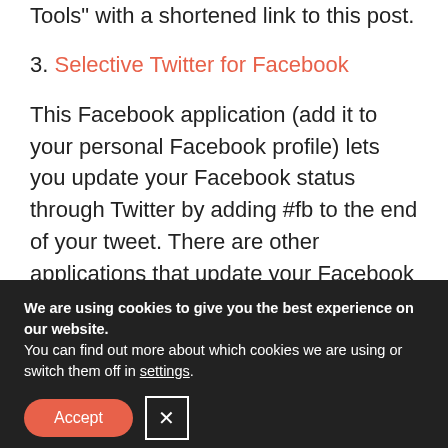Tools” with a shortened link to this post.
3. Selective Twitter for Facebook
This Facebook application (add it to your personal Facebook profile) lets you update your Facebook status through Twitter by adding #fb to the end of your tweet. There are other applications that update your Facebook status every time you tweet. But I don’t want everything I put on Twitter to appear as my Facebook status. For example, if you
We are using cookies to give you the best experience on our website.
You can find out more about which cookies we are using or switch them off in settings.
Accept